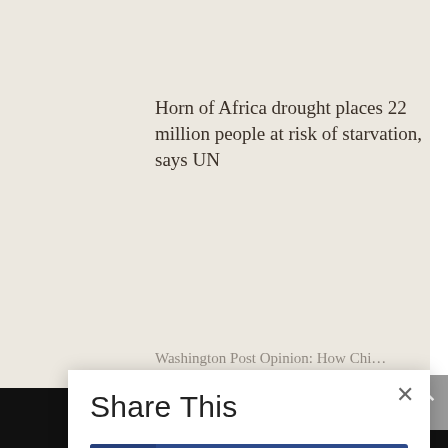Horn of Africa drought places 22 million people at risk of starvation, says UN
Washington Post Opinion: How Chi…
[Figure (screenshot): Share This modal dialog with Facebook, Twitter, Gmail, and LinkedIn share buttons]
× Share This
Facebook
Twitter
Gmail
LinkedIn